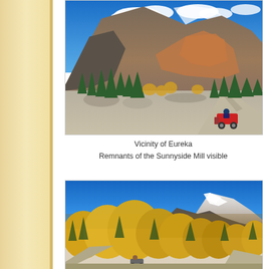[Figure (photo): Mountain landscape near Eureka with rocky peaks, evergreen trees, yellow aspens, and a dirt road with a red vehicle. Blue sky with scattered clouds.]
Vicinity of Eureka
Remnants of the Sunnyside Mill visible
[Figure (photo): Mountain scene with dense yellow aspen trees in fall foliage, snow-capped peaks in background, and bright blue sky. A motorbike visible near the bottom.]